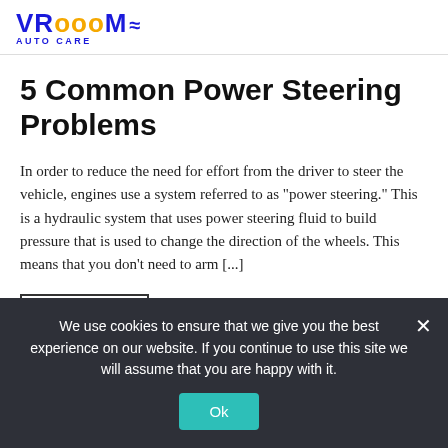VROOOM AUTO CARE
5 Common Power Steering Problems
In order to reduce the need for effort from the driver to steer the vehicle, engines use a system referred to as "power steering." This is a hydraulic system that uses power steering fluid to build pressure that is used to change the direction of the wheels. This means that you don't need to arm [...]
Read More
We use cookies to ensure that we give you the best experience on our website. If you continue to use this site we will assume that you are happy with it.